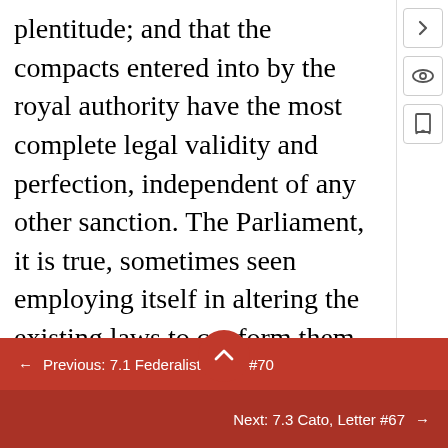plentitude; and that the compacts entered into by the royal authority have the most complete legal validity and perfection, independent of any other sanction. The Parliament, it is true, sometimes seen employing itself in altering the existing laws to conform them to the stipulations in a new treaty; and this may have possibly given birth to the imagination, that its co-operation was necessary to the obligatory efficacy of the treaty. But this parliamentary interposition proceeds from a different cause: from the necessity of adjusting a most artificial and intricate system of revenue and commercial laws, to the changes made in them
← Previous: 7.1 Federalist Paper #70
Next: 7.3 Cato, Letter #67 →